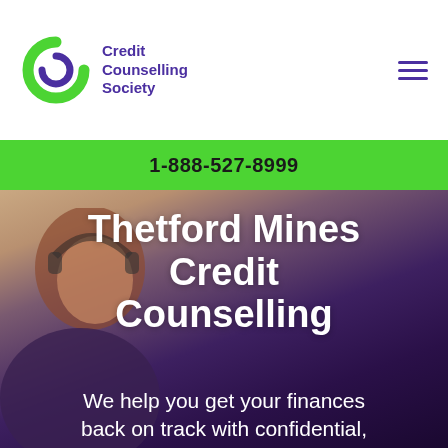[Figure (logo): Credit Counselling Society logo with circular C icon in green and purple, and purple text 'Credit Counselling Society']
[Figure (other): Hamburger menu icon with three horizontal purple lines]
1-888-527-8999
[Figure (photo): Blurred background photo of a woman with reddish hair, with dark purple overlay. Large white bold text reads 'Thetford Mines Credit Counselling' and below that 'We help you get your finances back on track with confidential,']
Thetford Mines Credit Counselling
We help you get your finances back on track with confidential,